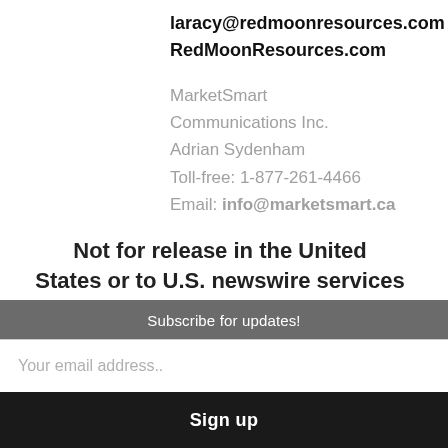laracy@redmoonresources.com
RedMoonResources.com
MarketSmart Communications Inc.
Adrian Sydenham
Toll-free: 1-877-261-4466
Email: info@marketsmart.ca
Not for release in the United States or to U.S. newswire services
The TSX Venture Exchange has not reviewed and does not accept responsibility for the adequacy or
Subscribe for updates!
Your email address..
Sign up